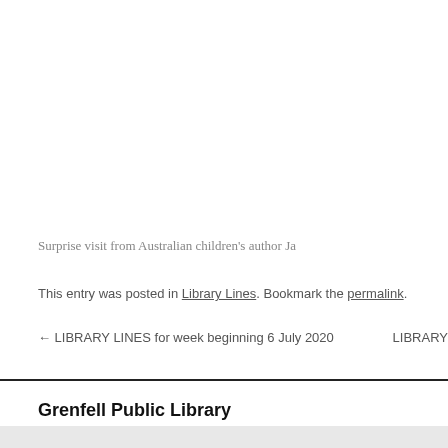Surprise visit from Australian children’s author Ja
This entry was posted in Library Lines. Bookmark the permalink.
← LIBRARY LINES for week beginning 6 July 2020    LIBRARY
Grenfell Public Library